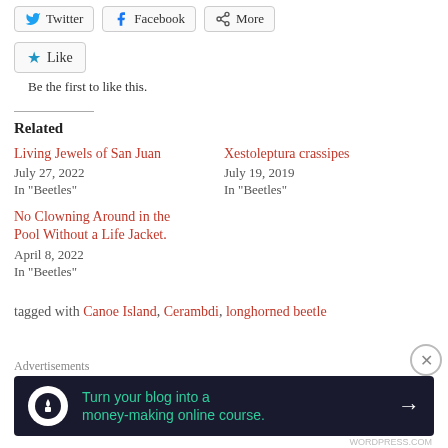Twitter  Facebook  More (share buttons)
Like
Be the first to like this.
Related
Living Jewels of San Juan
July 27, 2022
In "Beetles"
Xestoleptura crassipes
July 19, 2019
In "Beetles"
No Clowning Around in the Pool Without a Life Jacket.
April 8, 2022
In "Beetles"
tagged with Canoe Island, Cerambdi, longhorned beetle
Advertisements
[Figure (infographic): Advertisement banner: dark background with tree/person icon, teal text 'Turn your blog into a money-making online course.' with white arrow]